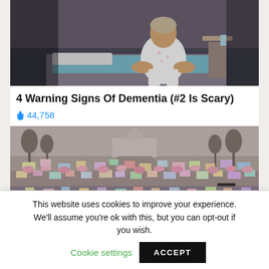[Figure (photo): Elderly person in pajamas sitting on edge of a bed, hunched over, in a dimly lit bedroom with a lamp on the nightstand.]
4 Warning Signs Of Dementia (#2 Is Scary)
🔥 44,758
[Figure (photo): Aerial view of a large crowd of protesters with colorful signs at the Women's March in Washington D.C., with the Capitol building visible in the background.]
This website uses cookies to improve your experience. We'll assume you're ok with this, but you can opt-out if you wish.
Cookie settings   ACCEPT